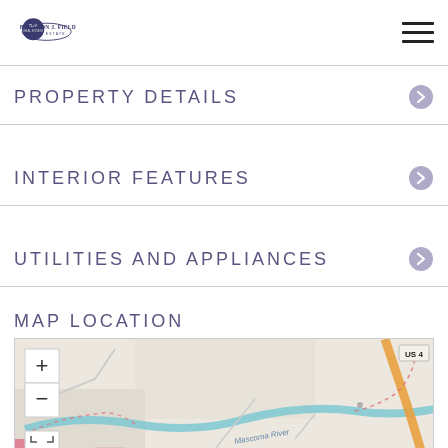Brandon J. Field Real Estate
PROPERTY DETAILS
INTERIOR FEATURES
UTILITIES AND APPLIANCES
MAP LOCATION
[Figure (map): Street map showing Mascoma River area near US 4 highway with zoom controls and fullscreen button]